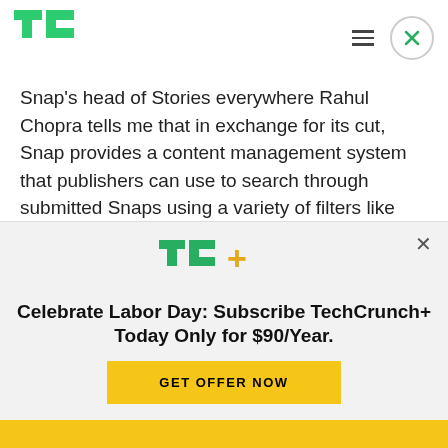TechCrunch logo, hamburger menu, close button
Snap's head of Stories everywhere Rahul Chopra tells me that in exchange for its cut, Snap provides a content management system that publishers can use to search through submitted Snaps using a variety of filters like keywords in captions and locations. A human at Snap will also moderate Curated Our Stories to ensure nothing
[Figure (logo): TechCrunch+ logo with TC+ in green and yellow]
Celebrate Labor Day: Subscribe TechCrunch+ Today Only for $90/Year.
GET OFFER NOW